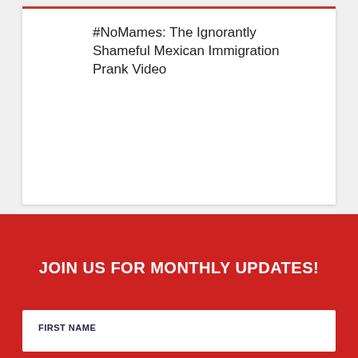#NoMames: The Ignorantly Shameful Mexican Immigration Prank Video
JOIN US FOR MONTHLY UPDATES!
FIRST NAME